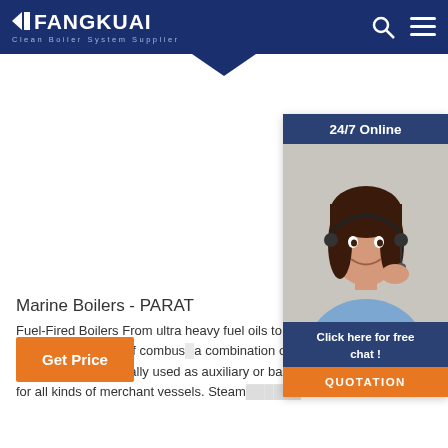FANGKUAI Clean Boiler System Supplier
[Figure (photo): Customer service representative woman wearing headset, smiling. Chat widget overlay with '24/7 Online' header, 'Click here for free chat!' text, and QUOTATION button.]
Marine Boilers - PARAT
Fuel-Fired Boilers From ultra heavy fuel oils to n... can supply boilers based on any kind of combus... a combination of multiple fuels if required. Fue... typically used as auxiliary or back up systems fo... heating for all kinds of merchant vessels. Steam from fuel fired
[Figure (other): Get Price orange button]
[Figure (other): TOP scroll-to-top button with orange dots and text]